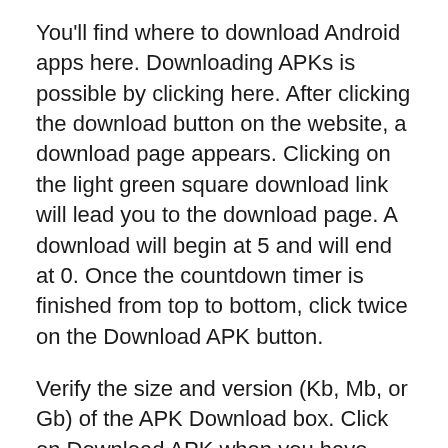You'll find where to download Android apps here. Downloading APKs is possible by clicking here. After clicking the download button on the website, a download page appears. Clicking on the light green square download link will lead you to the download page. A download will begin at 5 and will end at 0. Once the countdown timer is finished from top to bottom, click twice on the Download APK button.
Verify the size and version (Kb, Mb, or Gb) of the APK Download box. Click on Download APK when you have selected the version and size. Nothing needs to be changed. Once you change it, the APK extension changes to enable access to all apps on the device. After downloading a device, click on ‘Download’ to start the installation process.